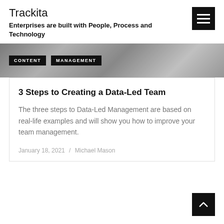Trackita
Enterprises are built with People, Process and Technology
[Figure (screenshot): Banner image with dark textured background showing tags: CONTENT, MANAGEMENT]
3 Steps to Creating a Data-Led Team
The three steps to Data-Led Management are based on real-life examples and will show you how to improve your team management.
January 18, 2021 / Michael Mason